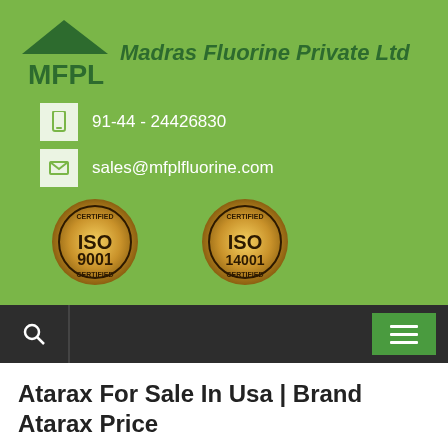[Figure (logo): MFPL Madras Fluorine Private Ltd logo with house/roof graphic in dark green and italic company name]
91-44 - 24426830
sales@mfplfluorine.com
[Figure (logo): ISO 9001 Certified gold badge]
[Figure (logo): ISO 14001 Certified gold badge]
[Figure (screenshot): Navigation bar with search icon and hamburger menu button]
Atarax For Sale In Usa | Brand Atarax Price
November 27, 2019   mfplfluorine
Brand Atarax Price